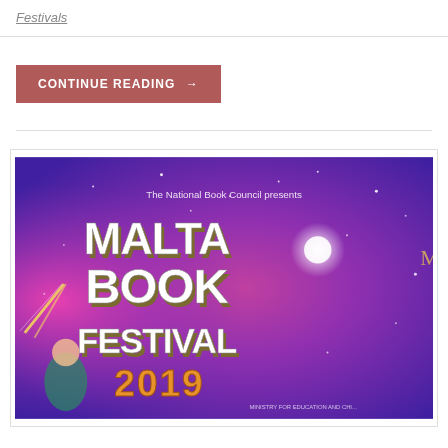Festivals
CONTINUE READING →
[Figure (illustration): Malta Book Festival 2019 promotional poster. The National Book Council presents Malta Book Festival 2019 written in large 3D block letters on a pink and purple galaxy/space background with stars and a shooting comet. Text 'Me' partially visible on right. Bottom right reads 'MINISTRY FOR EDUCATION AND CHI...']